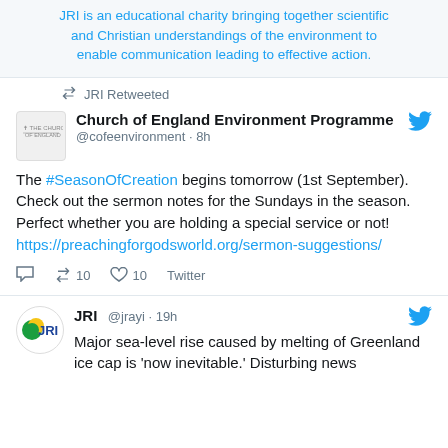JRI is an educational charity bringing together scientific and Christian understandings of the environment to enable communication leading to effective action.
JRI Retweeted
Church of England Environment Programme @cofeenvironment · 8h
The #SeasonOfCreation begins tomorrow (1st September).
Check out the sermon notes for the Sundays in the season. Perfect whether you are holding a special service or not!
https://preachingforgodsworld.org/sermon-suggestions/
10 retweets 10 likes Twitter
JRI @jrayi · 19h
Major sea-level rise caused by melting of Greenland ice cap is 'now inevitable.' Disturbing news